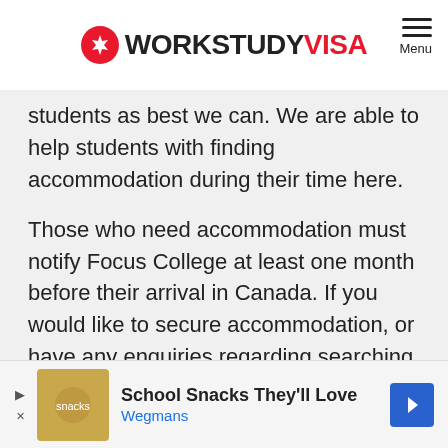WORKSTUDY VISA
students as best we can. We are able to help students with finding accommodation during their time here.
Those who need accommodation must notify Focus College at least one month before their arrival in Canada. If you would like to secure accommodation, or have any enquiries regarding searching for accommodation please email info@focuscollege.com
[Figure (other): Advertisement banner: School Snacks They'll Love - Wegmans]